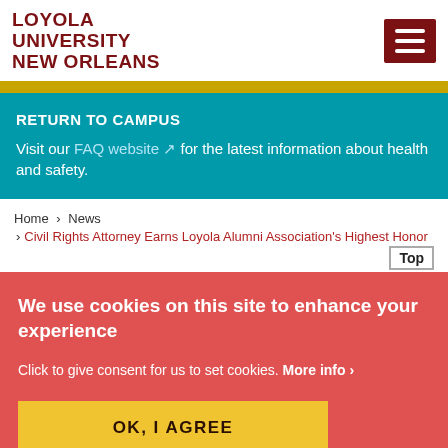[Figure (logo): Loyola University New Orleans logo text in dark red]
RETURN TO CAMPUS
Visit our FAQ website for the latest information about health and safety.
Home > News
> Civil Rights Attorney Earns Loyola Alumni Association's Highest Honor
We use cookies on this site to enhance your experience
Click to give consent for us to set cookies. More info >
OK, I AGREE